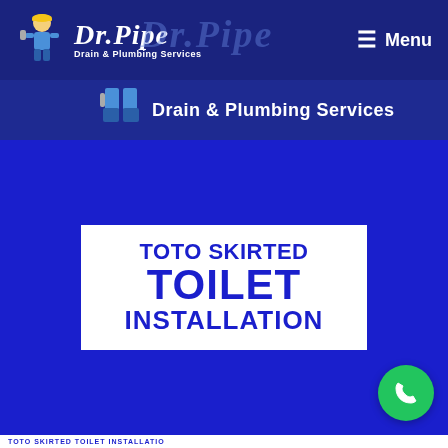[Figure (logo): Dr. Pipe Drain & Plumbing Services logo with plumber mascot, white italic script text on dark blue navigation bar, with Menu hamburger icon on right]
[Figure (logo): Secondary bar repeating partial Dr. Pipe logo with plumber mascot and 'Drain & Plumbing Services' text in white]
TOTO SKIRTED TOILET INSTALLATION
[Figure (illustration): Green circular phone call button in bottom right corner]